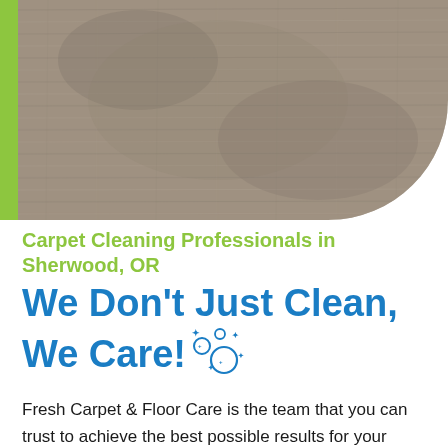[Figure (photo): Close-up photo of grey/brown carpet texture, displayed in a rounded rectangle shape in the upper portion of the page, with a green vertical accent bar on the left side.]
Carpet Cleaning Professionals in Sherwood, OR
We Don't Just Clean, We Care!
Fresh Carpet & Floor Care is the team that you can trust to achieve the best possible results for your home's carpets. Whether you've got a particular spot that needs attention, you're